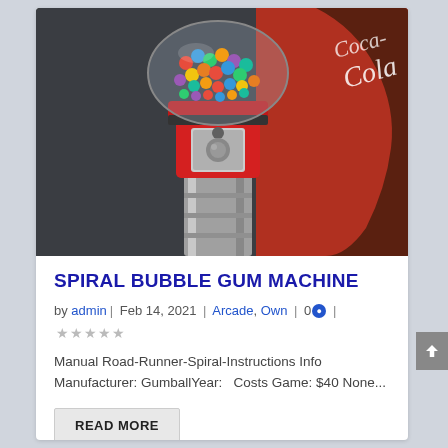[Figure (photo): A gumball / bubble gum vending machine with colorful gumballs in the clear dome top, red body, chrome coin mechanism, and glass cylinder base. A Coca-Cola branded surface is visible to the right.]
SPIRAL BUBBLE GUM MACHINE
by admin | Feb 14, 2021 | Arcade, Own | 0 💬 | ★★★★★
Manual Road-Runner-Spiral-Instructions Info Manufacturer: GumballYear:   Costs Game: $40 None...
READ MORE